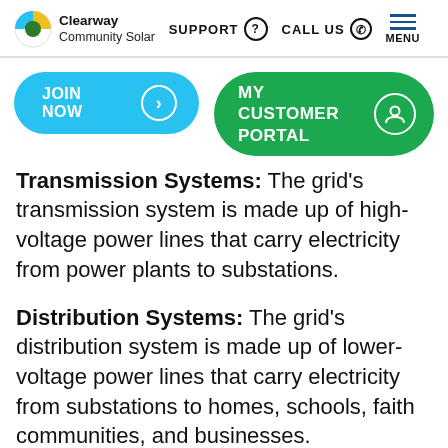Clearway Community Solar | SUPPORT | CALL US | MENU
JOIN NOW
MY CUSTOMER PORTAL
Transmission Systems: The grid's transmission system is made up of high-voltage power lines that carry electricity from power plants to substations.
Distribution Systems: The grid's distribution system is made up of lower-voltage power lines that carry electricity from substations to homes, schools, faith communities, and businesses.